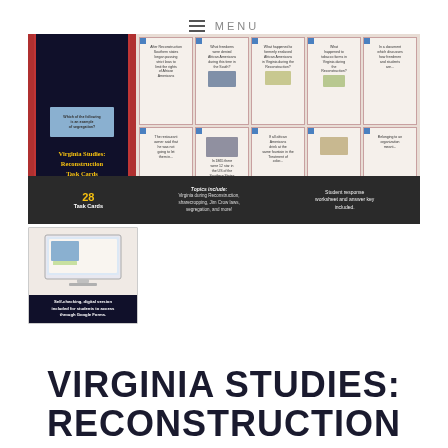≡ MENU
[Figure (photo): Product image showing Virginia Studies: Reconstruction Task Cards — a wide strip showing the task card set with two rows of five preview cards, a black footer bar listing '28 Task Cards', topics covered (Virginia during Reconstruction, sharecropping, Jim Crow laws, segregation, and more!), and note about student response worksheet and answer key included. Below the strip is a smaller image showing a self-checking digital version on a computer monitor, with a dark label reading 'Self-checking, digital version included for students to access through Google Forms.']
VIRGINIA STUDIES: RECONSTRUCTION